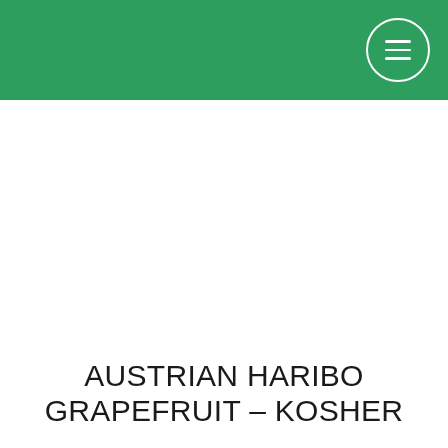AUSTRIAN HARIBO GRAPEFRUIT – KOSHER